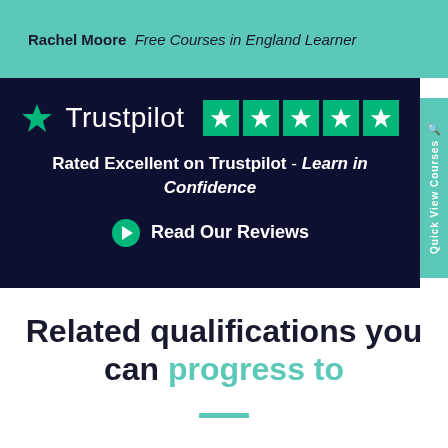Rachel Moore  Free Courses in England Learner
[Figure (screenshot): Trustpilot badge with 5 green stars on dark navy background, text reading Rated Excellent on Trustpilot - Learn in Confidence, and a Read Our Reviews button]
Related qualifications you can progress to